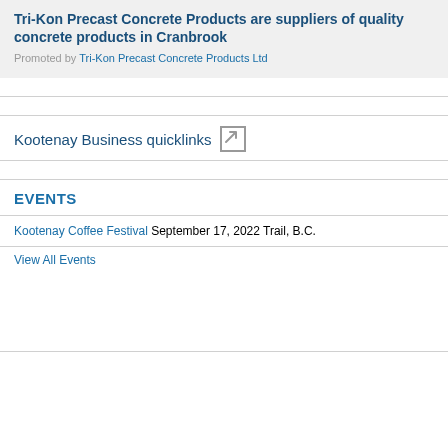Tri-Kon Precast Concrete Products are suppliers of quality concrete products in Cranbrook
Promoted by Tri-Kon Precast Concrete Products Ltd
Kootenay Business quicklinks
EVENTS
Kootenay Coffee Festival September 17, 2022 Trail, B.C.
View All Events